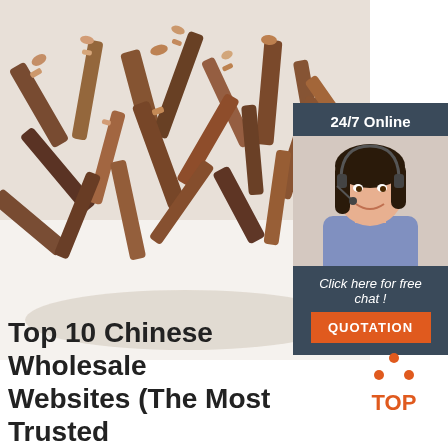[Figure (photo): Close-up photo of dried Chinese herbal medicine roots/bark pieces piled on a white surface]
[Figure (infographic): Sidebar advertisement with dark blue background: '24/7 Online' header, photo of female customer service agent with headset, 'Click here for free chat!' text, and orange 'QUOTATION' button]
[Figure (logo): TOP logo with orange dot triangle above the word TOP in orange letters]
Top 10 Chinese Wholesale Websites (The Most Trusted